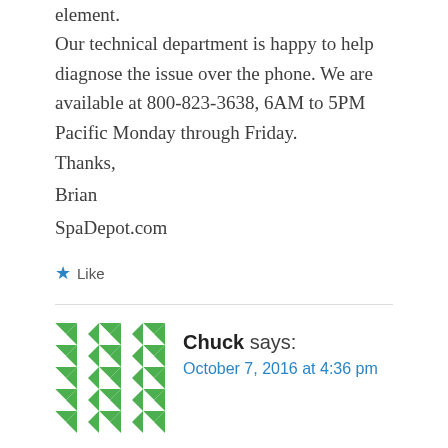element.
Our technical department is happy to help diagnose the issue over the phone. We are available at 800-823-3638, 6AM to 5PM Pacific Monday through Friday.
Thanks,
Brian
SpaDepot.com
★ Like
Chuck says: October 7, 2016 at 4:36 pm
Sundance. 2015 Denali. Had blb alarm. Replaced bulb but unable to reset alarm. Holding buttons per owners manual does not inter reset program. Is there a way to